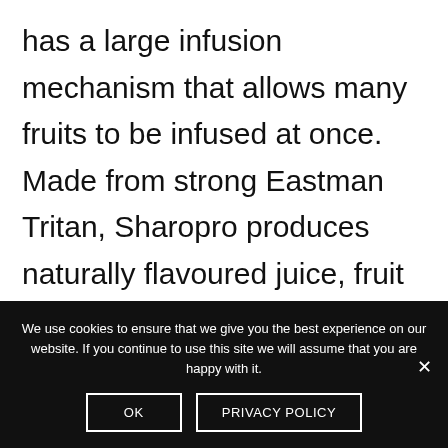has a large infusion mechanism that allows many fruits to be infused at once. Made from strong Eastman Tritan, Sharopro produces naturally flavoured juice, fruit water, iced tea, carbonated drinks and detox lemonade. The durable and excellent design makes it the perfect gift for your teacher who is a fitness fan.
We use cookies to ensure that we give you the best experience on our website. If you continue to use this site we will assume that you are happy with it.